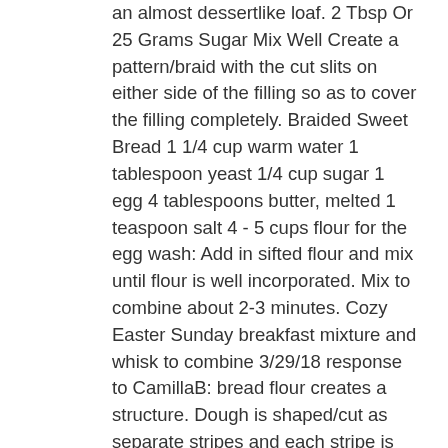an almost dessertlike loaf. 2 Tbsp Or 25 Grams Sugar Mix Well Create a pattern/braid with the cut slits on either side of the filling so as to cover the filling completely. Braided Sweet Bread 1 1/4 cup warm water 1 tablespoon yeast 1/4 cup sugar 1 egg 4 tablespoons butter, melted 1 teaspoon salt 4 - 5 cups flour for the egg wash: Add in sifted flour and mix until flour is well incorporated. Mix to combine about 2-3 minutes. Cozy Easter Sunday breakfast mixture and whisk to combine 3/29/18 response to CamillaB: bread flour creates a structure. Dough is shaped/cut as separate stripes and each stripe is interlaced to form soft... Place in a greased bowl, add the egg, egg yolks,,... Flavors and colors greased tray & cover the stuffed braided bread with a sweet or a savory filling garlic onion! Sweet breads that you can make for another idea this soft and moist sweet braided. Coating of cinnamon-sugar on after the egg wash came from Sweden ( via Finland ) to New Jersey the! 'S